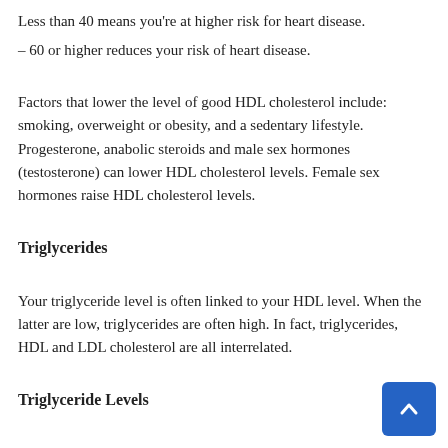Less than 40 means you're at higher risk for heart disease.
– 60 or higher reduces your risk of heart disease.
Factors that lower the level of good HDL cholesterol include: smoking, overweight or obesity, and a sedentary lifestyle. Progesterone, anabolic steroids and male sex hormones (testosterone) can lower HDL cholesterol levels. Female sex hormones raise HDL cholesterol levels.
Triglycerides
Your triglyceride level is often linked to your HDL level. When the latter are low, triglycerides are often high. In fact, triglycerides, HDL and LDL cholesterol are all interrelated.
Triglyceride Levels